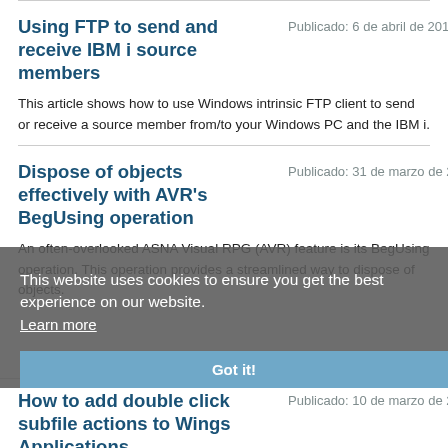Using FTP to send and receive IBM i source members
Publicado: 6 de abril de 2017
This article shows how to use Windows intrinsic FTP client to send or receive a source member from/to your Windows PC and the IBM i.
Dispose of objects effectively with AVR's BegUsing operation
Publicado: 31 de marzo de 2017
An often-overlooked ASNA Visual RPG (AVR) feature is its BegUsing operation. This operation provides a streamlined way to dispose of objects.
This website uses cookies to ensure you get the best experience on our website. Learn more
How to add double click subfile actions to Wings Applications
Publicado: 10 de marzo de 2017